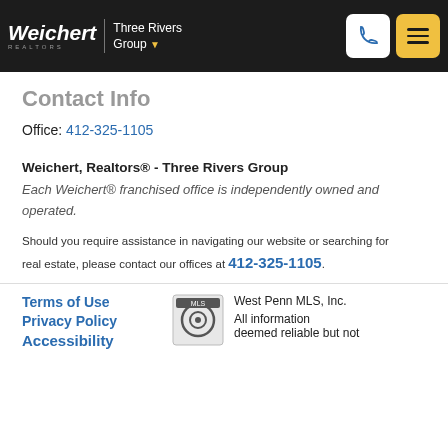Weichert | Three Rivers Group
Contact Info
Office: 412-325-1105
Weichert, Realtors® - Three Rivers Group
Each Weichert® franchised office is independently owned and operated.
Should you require assistance in navigating our website or searching for real estate, please contact our offices at 412-325-1105.
Terms of Use Privacy Policy Accessibility
West Penn MLS, Inc.
All information deemed reliable but not